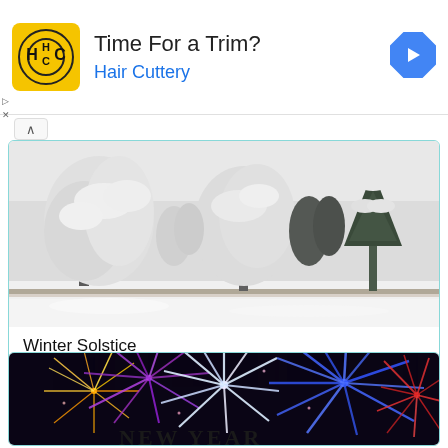[Figure (infographic): Hair Cuttery advertisement banner with yellow logo showing 'HC', text 'Time For a Trim?' and 'Hair Cuttery' in blue, and a blue navigation arrow diamond icon on the right]
[Figure (photo): Winter scene with snow-covered trees in a park, white frosted branches against a grey sky]
Winter Solstice
December 21, 2022
[Figure (photo): Colorful fireworks display in purple, blue, red and gold against a dark night sky, partially visible with text 'New Year' at bottom]